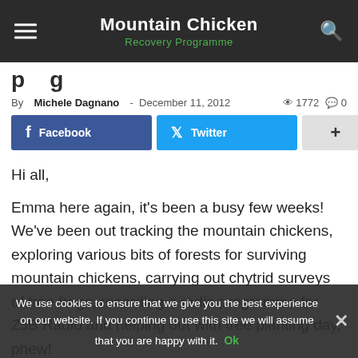Mountain Chicken Recovery Programme
By Michele Dagnano - December 11, 2012  1772  0
[Figure (other): Social sharing buttons: Facebook, Twitter, and a plus/more button]
Hi all,
Emma here again, it's been a busy few weeks! We've been out tracking the mountain chickens, exploring various bits of forests for surviving mountain chickens, carrying out chytrid surveys of tree frogs, recording a radio programme for ZJB Radio and helping out with tree planting day, phew!
Definitely getting the hang of radio-tracking now, mixing up the skills from the receiver, plus I'm building up my arm muscles (despite what he thinks I'm still sure Blacka's are bigger!).
The frogs themselves seem to be hopping around all around the...
We use cookies to ensure that we give you the best experience on our website. If you continue to use this site we will assume that you are happy with it.